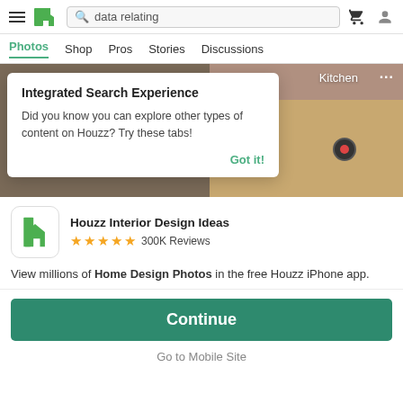[Figure (screenshot): Houzz website header with hamburger menu, green Houzz logo, search bar with 'data relating' query, cart icon, and user avatar icon]
Photos  Shop  Pros  Stories  Discussions
[Figure (photo): Photo strip showing interior design images with Kitchen label and three-dot menu. Overlay tooltip card with 'Integrated Search Experience' message.]
Integrated Search Experience
Did you know you can explore other types of content on Houzz? Try these tabs!
Got it!
Kitchen
Houzz Interior Design Ideas
★★★★★ 300K Reviews
View millions of Home Design Photos in the free Houzz iPhone app.
Continue
Go to Mobile Site